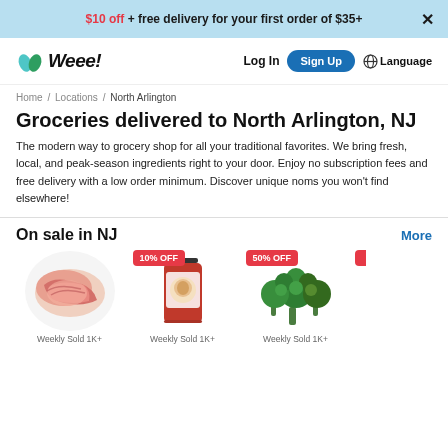$10 off + free delivery for your first order of $35+
[Figure (logo): Weee! grocery delivery app logo with green leaf icon]
Home / Locations / North Arlington
Groceries delivered to North Arlington, NJ
The modern way to grocery shop for all your traditional favorites. We bring fresh, local, and peak-season ingredients right to your door. Enjoy no subscription fees and free delivery with a low order minimum. Discover unique noms you won't find elsewhere!
On sale in NJ
[Figure (photo): Product 1: meat/ribs on a white plate, no discount badge]
[Figure (photo): Product 2: red chili sauce jar with 10% OFF badge]
[Figure (photo): Product 3: broccoli with 50% OFF badge]
Weekly Sold 1K+
Weekly Sold 1K+
Weekly Sold 1K+